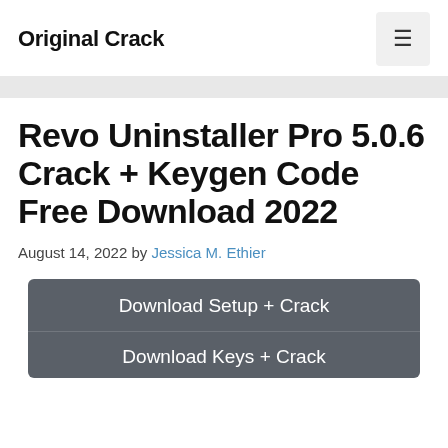Original Crack
Revo Uninstaller Pro 5.0.6 Crack + Keygen Code Free Download 2022
August 14, 2022 by Jessica M. Ethier
Download Setup + Crack
Download Keys + Crack